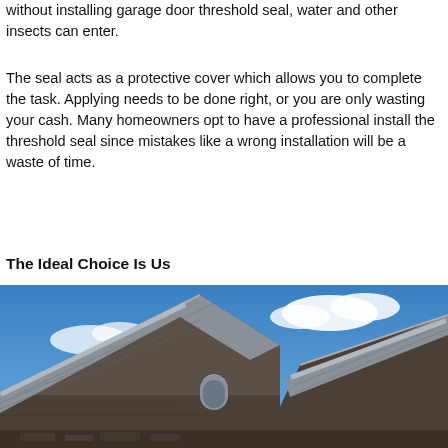without installing garage door threshold seal, water and other insects can enter.
The seal acts as a protective cover which allows you to complete the task. Applying needs to be done right, or you are only wasting your cash. Many homeowners opt to have a professional install the threshold seal since mistakes like a wrong installation will be a waste of time.
The Ideal Choice Is Us
[Figure (photo): Exterior view of a stone house with gabled roofs featuring gray slate shingles, a small arched attic vent window, against a blue sky with white clouds.]